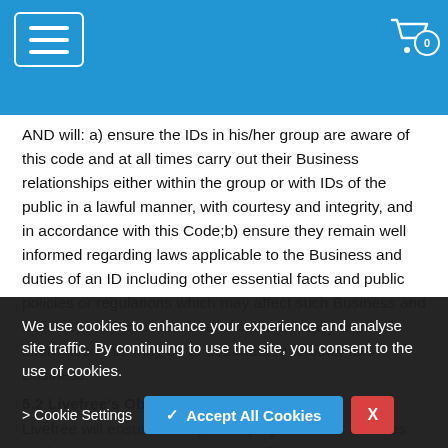Navigation header with menu icon and cart icon (badge: 0)
AND will: a) ensure the IDs in his/her group are aware of this code and at all times carry out their Business relationships either within the group or with IDs of the public in a lawful manner, with courtesy and integrity, and in accordance with this Code;b) ensure they remain well informed regarding laws applicable to the Business and duties of an ID including other essential facts and public policies or regulations which may affect such Business and duties;c) keep confidential and not unethically use information that may be of detriment to another ID's Business.
5.2 Livefree's Obligations
Livefree will ensure that:a) its employees will at all times act in a manner which does not conflict with the best legitimate interests of
We use cookies to enhance your experience and analyse site traffic. By continuing to use the site, you consent to the use of cookies.